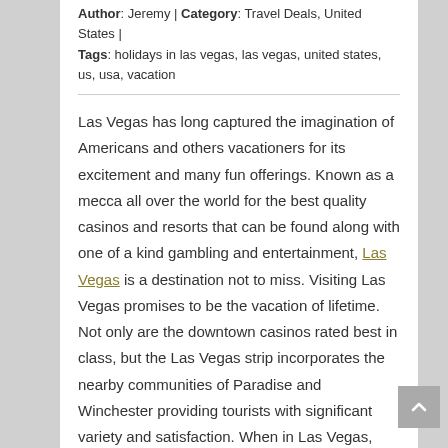Author: Jeremy | Category: Travel Deals, United States | Tags: holidays in las vegas, las vegas, united states, us, usa, vacation
Las Vegas has long captured the imagination of Americans and others vacationers for its excitement and many fun offerings. Known as a mecca all over the world for the best quality casinos and resorts that can be found along with one of a kind gambling and entertainment, Las Vegas is a destination not to miss. Visiting Las Vegas promises to be the vacation of lifetime. Not only are the downtown casinos rated best in class, but the Las Vegas strip incorporates the nearby communities of Paradise and Winchester providing tourists with significant variety and satisfaction. When in Las Vegas, tourists should always make sure to capture the excitement and novelty of America's most desirable vacation destination by taking part in the following must see and do attractions.